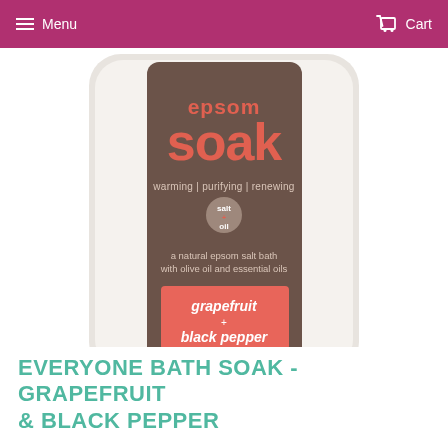Menu  Cart
[Figure (photo): Product photo of EOS Epsom Soak bath product bottle - Grapefruit & Black Pepper flavor. Bottle has dark brown/taupe label with coral/salmon colored text reading 'epsom soak', subtitle 'warming | purifying | renewing', a circular badge reading 'salt + oil', text 'a natural epsom salt bath with olive oil and essential oils', and a salmon/coral rectangle reading 'grapefruit + black pepper'.]
EVERYONE BATH SOAK - GRAPEFRUIT & BLACK PEPPER